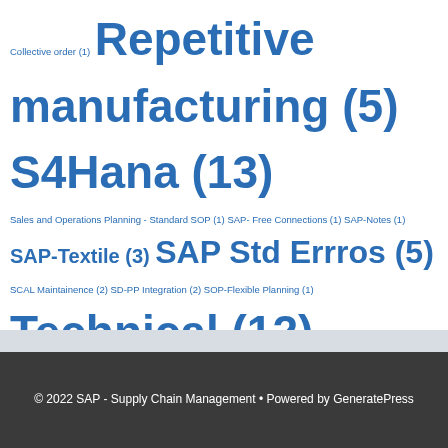Collective order (1) Repetitive manufacturing (5) S4Hana (13) Sales and Operations Planning - Standard SOP (1) SAP- Free Connections (1) SAP-Notes (1) SAP-Textile (3) SAP Std Errros (5) SCAL Maintainence (2) SD-PP Integration (2) SOP-Flexible Planning (1) Technical (12) Uncategorized (2) Variant Configuration -Technical (7) Workcenter (2) Year End Actitvities - SAP- PP (1)
© 2022 SAP - Supply Chain Management • Powered by GeneratePress